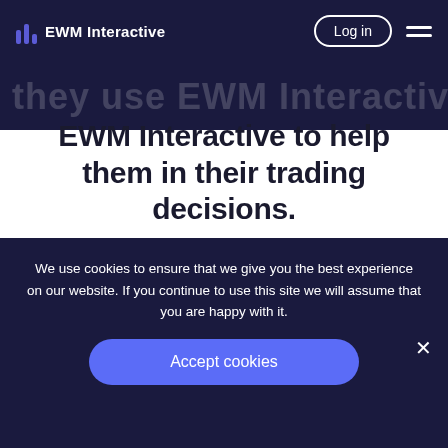EWM Interactive
EWM Interactive to help them in their trading decisions.
I love the way EWM does business: response times & overall friendly demeanor are
We use cookies to ensure that we give you the best experience on our website. If you continue to use this site we will assume that you are happy with it.
Accept cookies